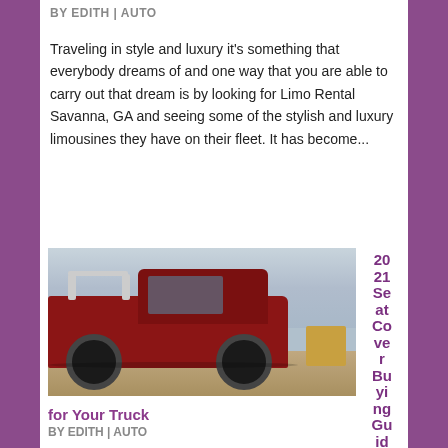BY EDITH | AUTO
Traveling in style and luxury it’s something that everybody dreams of and one way that you are able to carry out that dream is by looking for Limo Rental Savanna, GA and seeing some of the stylish and luxury limousines they have on their fleet. It has become...
[Figure (photo): Red pickup truck parked outdoors on a dirt/gravel area under a cloudy sky, viewed from the rear quarter angle.]
2021 Seat Cover Buying Guide for Your Truck
BY EDITH | AUTO